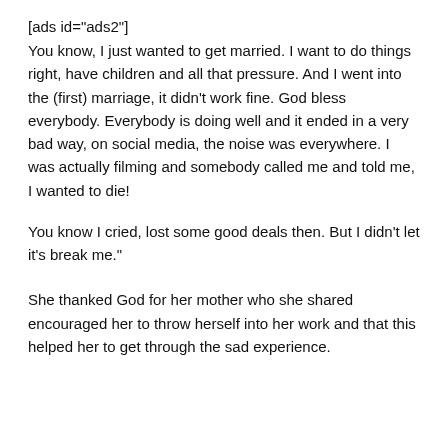[ads id="ads2"]
You know, I just wanted to get married. I want to do things right, have children and all that pressure. And I went into the (first) marriage, it didn't work fine. God bless everybody. Everybody is doing well and it ended in a very bad way, on social media, the noise was everywhere. I was actually filming and somebody called me and told me, I wanted to die!
You know I cried, lost some good deals then. But I didn't let it's break me."
She thanked God for her mother who she shared encouraged her to throw herself into her work and that this helped her to get through the sad experience.